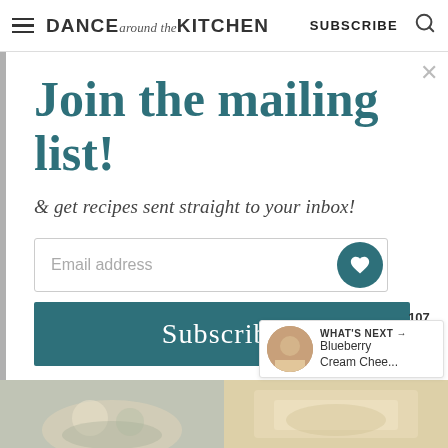DANCE around the KITCHEN   SUBSCRIBE
Join the mailing list!
& get recipes sent straight to your inbox!
Email address
Subscribe
107
WHAT'S NEXT → Blueberry Cream Chee...